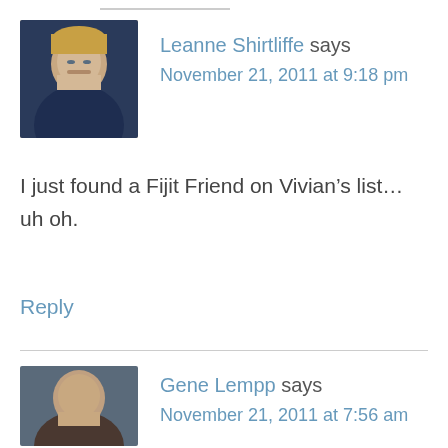[Figure (photo): Avatar photo of Leanne Shirtliffe, a woman with glasses and blonde hair]
Leanne Shirtliffe says
November 21, 2011 at 9:18 pm
I just found a Fijit Friend on Vivian’s list… uh oh.
Reply
[Figure (photo): Avatar photo of Gene Lempp, a man with short hair]
Gene Lempp says
November 21, 2011 at 7:56 am